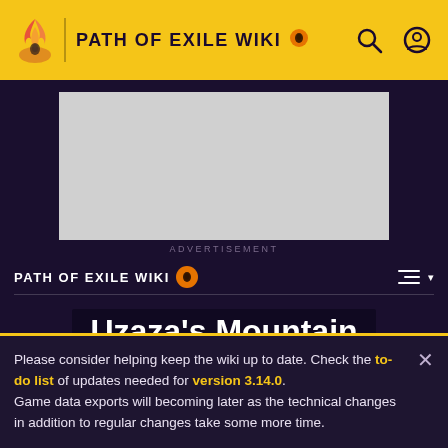PATH OF EXILE WIKI
[Figure (screenshot): Advertisement placeholder box]
ADVERTISEMENT
PATH OF EXILE WIKI
Uzaza's Mountain
[Figure (screenshot): Partial item card preview with gold border]
Please consider helping keep the wiki up to date. Check the to-do list of updates needed for version 3.14.0. Game data exports will becoming later as the technical changes in addition to regular changes take some more time.